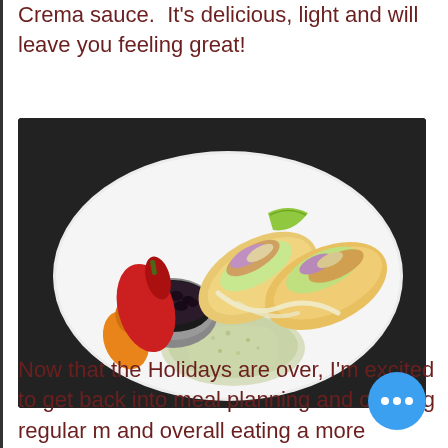Crema sauce. It's delicious, light and will leave you feeling great!
[Figure (photo): A white plate with fish tacos garnished with coleslaw, red and orange bell peppers on the side, a small bowl of black beans, and white rice with herbs. Watermark reads 'RD & Me' in bottom right corner. Dark countertop background.]
Now that the Holidays are over, I'm excited to get back into meal planning and cooking regular m... and overall eating a more balanced